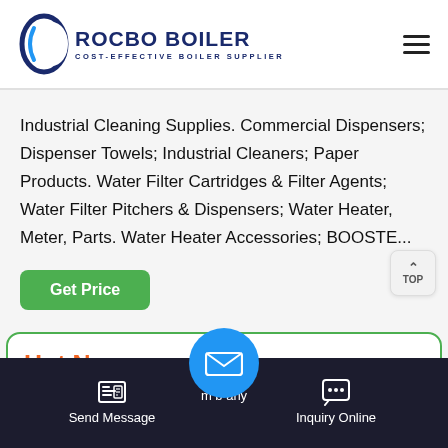[Figure (logo): Rocbo Boiler logo with crescent moon icon and text 'ROCBO BOILER / COST-EFFECTIVE BOILER SUPPLIER']
Industrial Cleaning Supplies. Commercial Dispensers; Dispenser Towels; Industrial Cleaners; Paper Products. Water Filter Cartridges & Filter Agents; Water Filter Pitchers & Dispensers; Water Heater, Meter, Parts. Water Heater Accessories; BOOSTE...
Hot News
m b any
Send Message  Inquiry Online